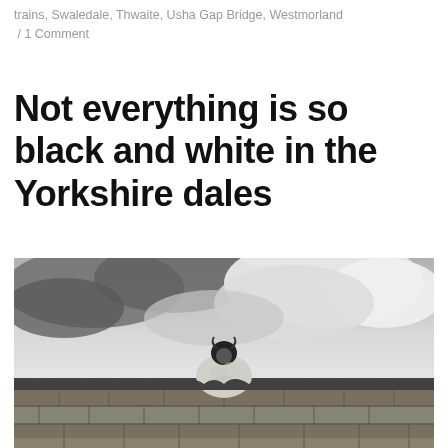trains, Swaledale, Thwaite, Usha Gap Bridge, Westmorland / 1 Comment
Not everything is so black and white in the Yorkshire dales
[Figure (photo): Black and white photograph of a sheep standing on top of a dry stone wall, with dramatic cloudy sky in the background, Yorkshire dales landscape.]